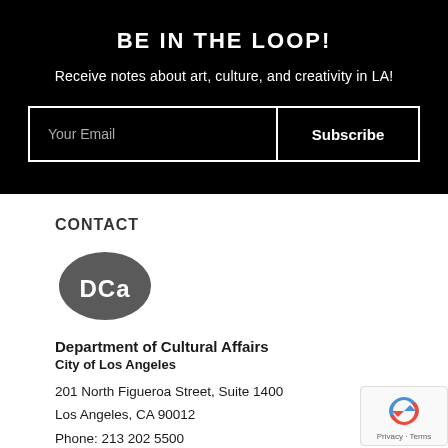BE IN THE LOOP!
Receive notes about art, culture, and creativity in LA!
Your Email  Subscribe
CONTACT
[Figure (logo): DCA logo - dark grey oval with white text 'DCa' representing Department of Cultural Affairs]
Department of Cultural Affairs
City of Los Angeles

201 North Figueroa Street, Suite 1400
Los Angeles, CA 90012
Phone: 213 202 5500